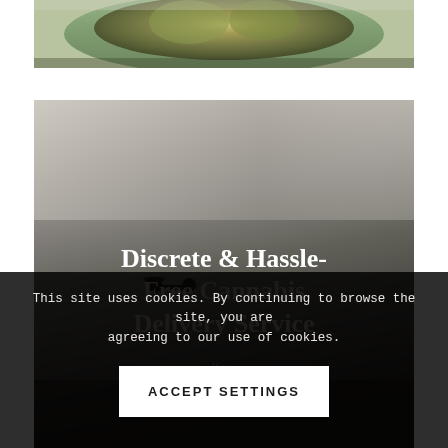[Figure (photo): Close-up photo of cannabis/marijuana plant buds in a glass jar, top portion visible against light background]
[Figure (photo): Blurred dark interior room photo with a wall-mounted lamp/hook visible, serving as background for text overlay]
Discrete & Hassle-Free Cannabis Delivery Service
If y... res... benefits of world-class
This site uses cookies. By continuing to browse the site, you are agreeing to our use of cookies.
ACCEPT SETTINGS